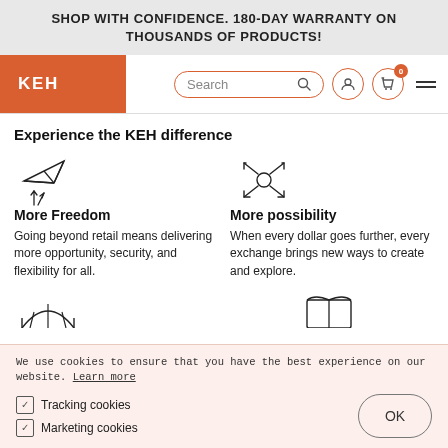SHOP WITH CONFIDENCE. 180-DAY WARRANTY ON THOUSANDS OF PRODUCTS!
[Figure (logo): KEH orange logo block with white text]
Search
Experience the KEH difference
[Figure (illustration): Paper airplane icon]
More Freedom
Going beyond retail means delivering more opportunity, security, and flexibility for all.
[Figure (illustration): Expand/move arrows icon (four directional arrows)]
More possibility
When every dollar goes further, every exchange brings new ways to create and explore.
[Figure (illustration): Partial arch/tent icon at bottom left]
[Figure (illustration): Partial tent/book icon at bottom right]
We use cookies to ensure that you have the best experience on our website. Learn more
Tracking cookies
Marketing cookies